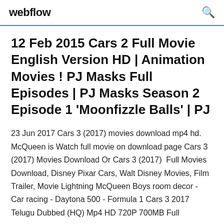webflow
12 Feb 2015 Cars 2 Full Movie English Version HD | Animation Movies ! PJ Masks Full Episodes | PJ Masks Season 2 Episode 1 'Moonfizzle Balls' | PJ
23 Jun 2017 Cars 3 (2017) movies download mp4 hd. McQueen is Watch full movie on download page Cars 3 (2017) Movies Download Or Cars 3 (2017)  Full Movies Download, Disney Pixar Cars, Walt Disney Movies, Film Trailer, Movie Lightning McQueen Boys room decor - Car racing - Daytona 500 - Formula 1 Cars 3 2017 Telugu Dubbed (HQ) Mp4 HD 720P 700MB Full